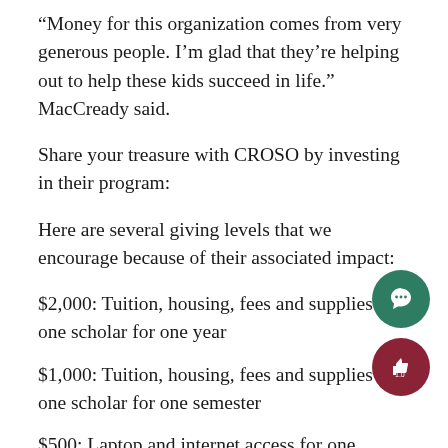“Money for this organization comes from very generous people. I’m glad that they’re helping out to help these kids succeed in life.” MacCready said.
Share your treasure with CROSO by investing in their program:
Here are several giving levels that we encourage because of their associated impact:
$2,000: Tuition, housing, fees and supplies for one scholar for one year
$1,000: Tuition, housing, fees and supplies for one scholar for one semester
$500: Laptop and internet access for one scholar
$250: Housing for one scholar for one year
$100: Transportation for one scholar for one year